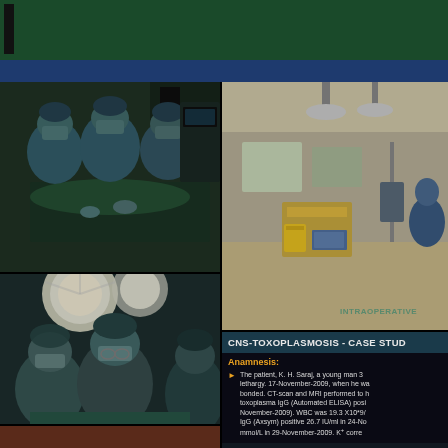[Figure (photo): Surgical team in operating room performing surgery, surgeons in blue scrubs and masks]
[Figure (photo): Operating room interior with surgical equipment, tables, and yellow biohazard bins]
[Figure (photo): Surgeons performing operation under bright overhead surgical lights]
CNS-TOXOPLASMOSIS - CASE STUD
Anamnesis:
The patient, K. H. Saraj, a young man 3 lethargy. 17-November-2009, when he wa bonded. CT-scan and MRI performed to h toxoplasma IgG (Automated ELISA) posi November-2009). WBC was 19.3 X10*9/
IgG (Axsym) positive 26.7 IU/ml in 24-No
mmol/L in 29-November-2009. K+ corre